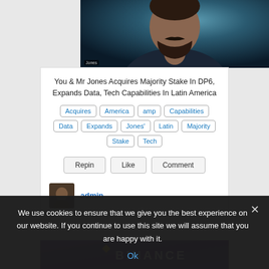[Figure (photo): Close-up photo of a man with beard in dark jacket, teal/dark background. Label 'Jones' visible in lower left.]
You & Mr Jones Acquires Majority Stake In DP6, Expands Data, Tech Capabilities In Latin America
Acquires
America
amp
Capabilities
Data
Expands
Jones'
Latin
Majority
Stake
Tech
Repin   Like   Comment
admin
[Figure (photo): Binance logo on purple/dark background with triangle chevron icon and BINANCE text in white letters.]
We use cookies to ensure that we give you the best experience on our website. If you continue to use this site we will assume that you are happy with it.
Ok